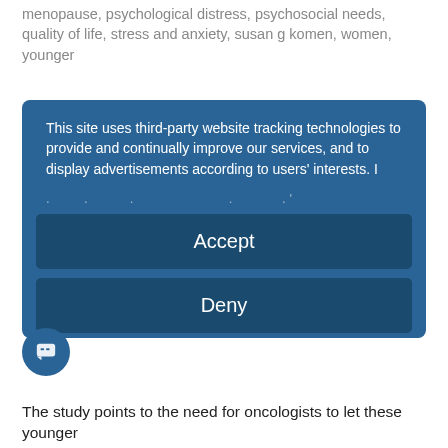menopause, psychological distress, psychosocial needs, quality of life, stress and anxiety, susan g komen, women, younger
[Figure (screenshot): Cookie consent modal overlay with blue background. Contains text about third-party tracking, Accept and Deny buttons, a 'more' link, and 'Powered by usercentrics &' branding.]
The study points to the need for oncologists to let these younger